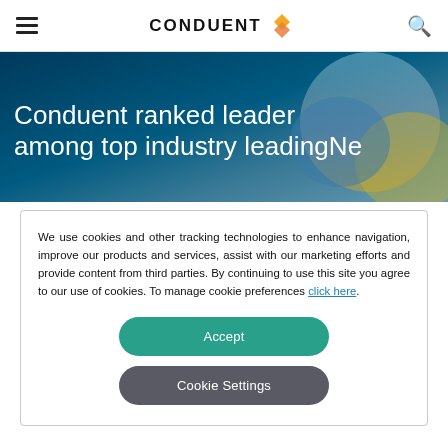CONDUENT [logo]
Conduent ranked leader among top industry leading
We use cookies and other tracking technologies to enhance navigation, improve our products and services, assist with our marketing efforts and provide content from third parties. By continuing to use this site you agree to our use of cookies. To manage cookie preferences click here.
Accept
Cookie Settings